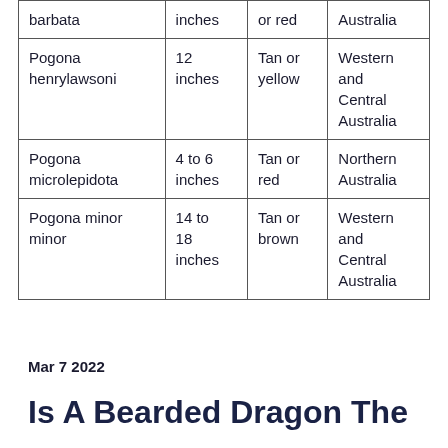| barbata | inches | or red | Australia |
| Pogona henrylawsoni | 12 inches | Tan or yellow | Western and Central Australia |
| Pogona microlepidota | 4 to 6 inches | Tan or red | Northern Australia |
| Pogona minor minor | 14 to 18 inches | Tan or brown | Western and Central Australia |
Mar 7 2022
Is A Bearded Dragon The